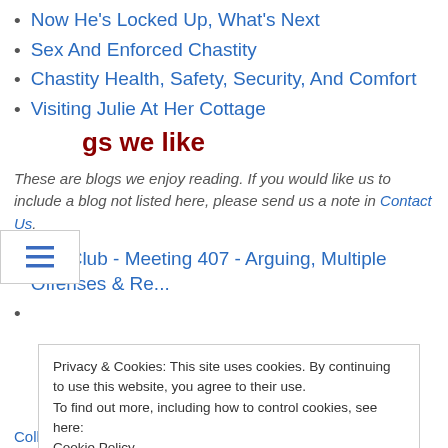Now He's Locked Up, What's Next
Sex And Enforced Chastity
Chastity Health, Safety, Security, And Comfort
Visiting Julie At Her Cottage
Blogs we like
These are blogs we enjoy reading. If you would like us to include a blog not listed here, please send us a note in Contact Us.
The Club - Meeting 407 - Arguing, Multiple Offenses & Re...
Privacy & Cookies: This site uses cookies. By continuing to use this website, you agree to their use. To find out more, including how to control cookies, see here: Cookie Policy
Collared Michael | 17 days ago